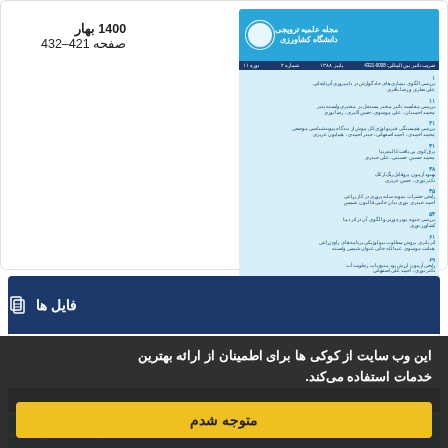1400 بهار
صفحه 421-432
[Figure (other): Journal cover image with blue header, table of contents in Persian, and blue footer]
فایل ها
این وب سایت از کوکی ها برای اطمینان از ارائه بهترین خدمات استفاده می کند.
متوجه شدم
رجای به این مقاله